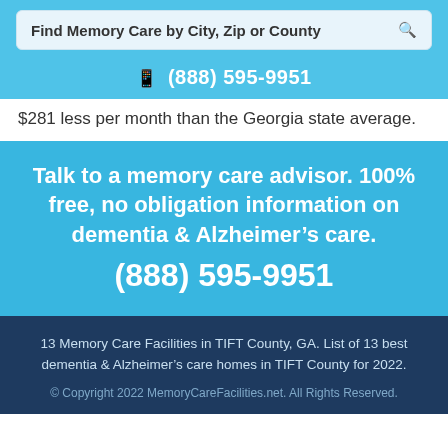Find Memory Care by City, Zip or County
(888) 595-9951
$281 less per month than the Georgia state average.
Talk to a memory care advisor. 100% free, no obligation information on dementia & Alzheimer's care. (888) 595-9951
13 Memory Care Facilities in TIFT County, GA. List of 13 best dementia & Alzheimer's care homes in TIFT County for 2022. © Copyright 2022 MemoryCareFacilities.net. All Rights Reserved.